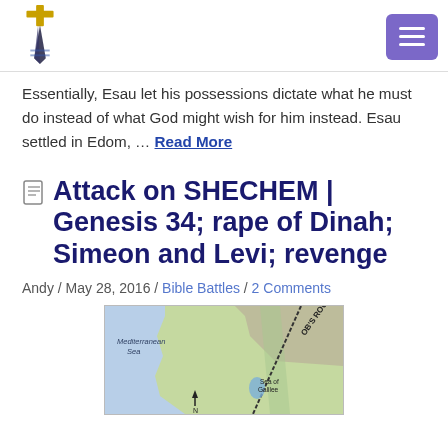[Logo and navigation menu]
Essentially, Esau let his possessions dictate what he must do instead of what God might wish for him instead. Esau settled in Edom, … Read More
Attack on SHECHEM | Genesis 34; rape of Dinah; Simeon and Levi; revenge
Andy / May 28, 2016 / Bible Battles / 2 Comments
[Figure (map): Map showing Mediterranean Sea and Sea of Galilee region with Jacob's Route marked]